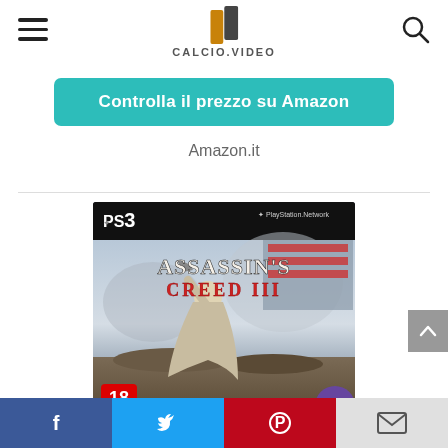CALCIO.VIDEO
Controlla il prezzo su Amazon
Amazon.it
[Figure (photo): PS3 game cover of Assassin's Creed III showing a hooded assassin with a tomahawk against a battle scene background with an 18+ rating badge and PlayStation Network logo]
Facebook | Twitter | Pinterest | Email